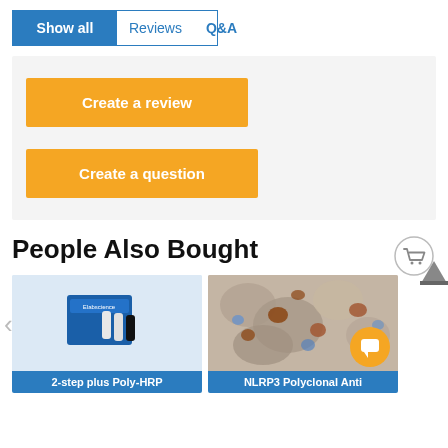Show all | Reviews | Q&A
Create a review
Create a question
People Also Bought
[Figure (photo): Product image of 2-step plus Poly-HRP kit with blue boxes and reagent bottles]
2-step plus Poly-HRP
[Figure (photo): Microscopy image showing NLRP3 Polyclonal Antibody tissue staining with brown/blue coloring]
NLRP3 Polyclonal Anti